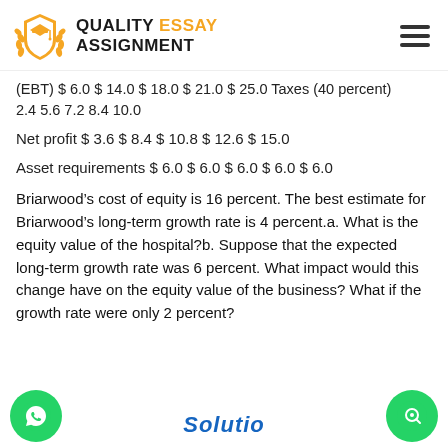QUALITY ESSAY ASSIGNMENT
(EBT) $ 6.0 $ 14.0 $ 18.0 $ 21.0 $ 25.0 Taxes (40 percent) 2.4 5.6 7.2 8.4 10.0
Net profit $ 3.6 $ 8.4 $ 10.8 $ 12.6 $ 15.0
Asset requirements $ 6.0 $ 6.0 $ 6.0 $ 6.0 $ 6.0
Briarwood’s cost of equity is 16 percent. The best estimate for Briarwood’s long-term growth rate is 4 percent.a. What is the equity value of the hospital?b. Suppose that the expected long-term growth rate was 6 percent. What impact would this change have on the equity value of the business? What if the growth rate were only 2 percent?